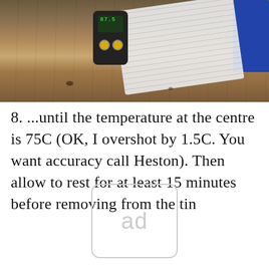[Figure (photo): Photo of a wooden table surface with a digital thermometer/remote control device (black with yellow buttons and green display showing temperature), a white knitted cloth or towel, and a blue object partially visible at the top right.]
8. ...until the temperature at the centre is 75C (OK, I overshot by 1.5C. You want accuracy call Heston). Then allow to rest for at least 15 minutes before removing from the tin